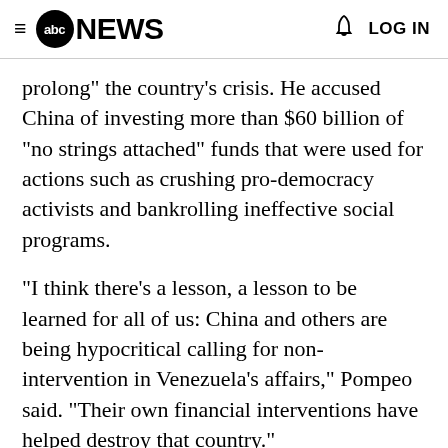≡ abc NEWS   🔔 LOG IN
prolong" the country's crisis. He accused China of investing more than $60 billion of "no strings attached" funds that were used for actions such as crushing pro-democracy activists and bankrolling ineffective social programs.
"I think there's a lesson, a lesson to be learned for all of us: China and others are being hypocritical calling for non-intervention in Venezuela's affairs," Pompeo said. "Their own financial interventions have helped destroy that country."
Hyperinflation, shortages of food and...